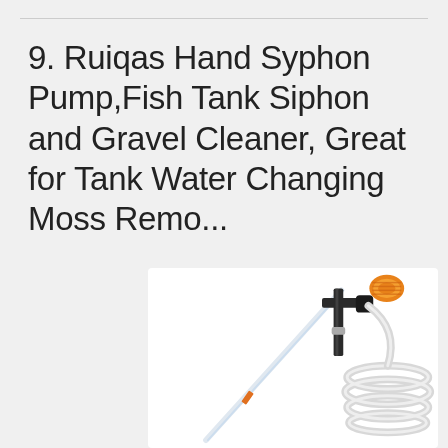9. Ruiqas Hand Syphon Pump,Fish Tank Siphon and Gravel Cleaner, Great for Tank Water Changing Moss Remo...
[Figure (photo): Product photo of a Ruiqas hand syphon pump for fish tanks, showing a black metal siphon tube with an orange-accented pump mechanism at the top, a clear plastic intake tube, and a coiled white hose, all on a white background.]